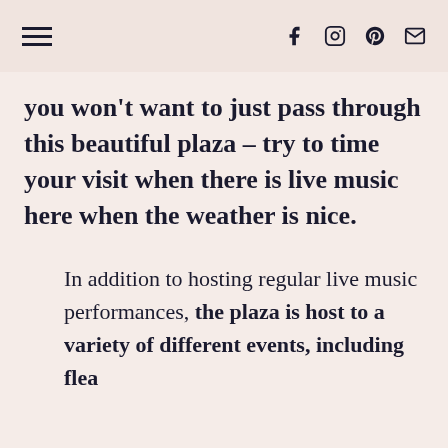[hamburger menu] [social icons: f, instagram, pinterest, email]
you won't want to just pass through this beautiful plaza – try to time your visit when there is live music here when the weather is nice.
In addition to hosting regular live music performances, the plaza is host to a variety of different events, including flea